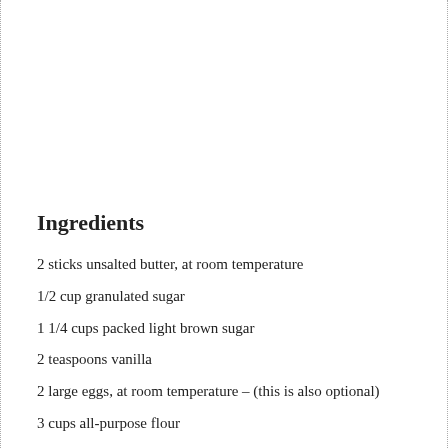Ingredients
2 sticks unsalted butter, at room temperature
1/2 cup granulated sugar
1 1/4 cups packed light brown sugar
2 teaspoons vanilla
2 large eggs, at room temperature – (this is also optional)
3 cups all-purpose flour